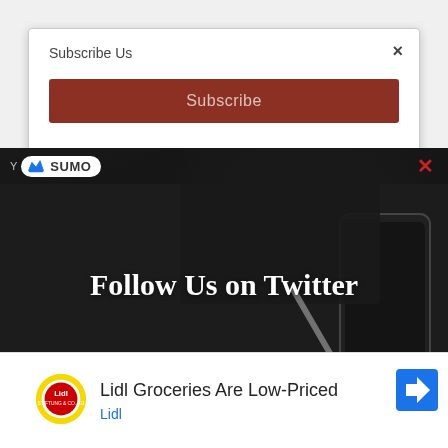Subscribe Us
Subscribe
[Figure (screenshot): SUMO popup overlay showing 'Follow Us on Twitter' with desk background image featuring laptop, phone, and pen]
Follow @DayTechnology1
2,655 followers
[Figure (logo): Lidl logo - yellow circle with red and blue text on white square]
Lidl Groceries Are Low-Priced
Lidl